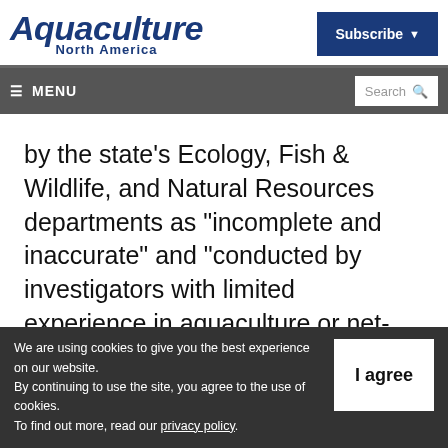Aquaculture North America | Subscribe
MENU | Search
by the state's Ecology, Fish & Wildlife, and Natural Resources departments as "incomplete and inaccurate" and "conducted by investigators with limited experience in aquaculture or net-pen operations."
We are using cookies to give you the best experience on our website. By continuing to use the site, you agree to the use of cookies. To find out more, read our privacy policy.